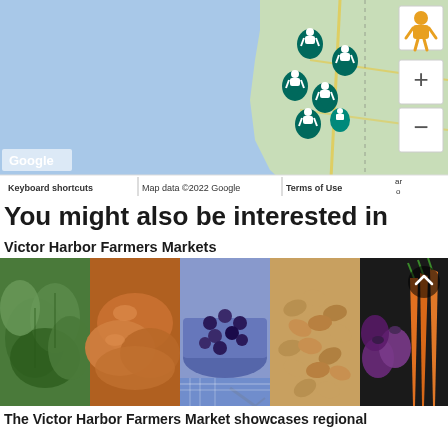[Figure (map): Google Map screenshot showing coastal area with multiple farmer market map pins (teal/green tree-figure icons) clustered in the upper right portion of the map. Blue water fills left side, green land on right. Zoom controls (+/-) and street view person icon visible on right side. Google logo bottom left. Map footer shows 'Keyboard shortcuts | Map data ©2022 Google | Terms of Use']
You might also be interested in
Victor Harbor Farmers Markets
[Figure (photo): Horizontal photo strip showing 5 farmers market product images side by side: green leafy vegetables, golden bread rolls/buns, blueberries in a blue bowl with whisk, almonds/nuts, and purple onions with orange carrots on dark background. Chevron up arrow button visible top right.]
The Victor Harbor Farmers Market showcases regional